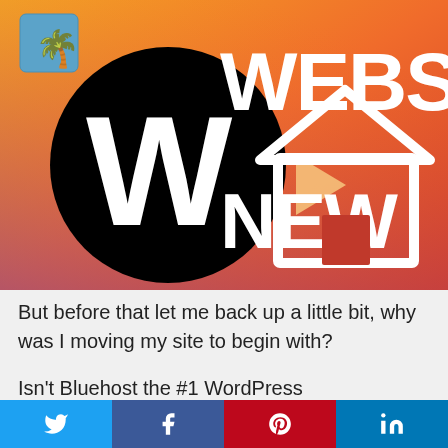[Figure (illustration): Promotional banner with orange-red gradient background showing WordPress logo (black circle with W), text 'WEBSITE NEW' in large white bold letters, a play button triangle icon, a house/home icon outline, and a small palm tree logo in top left corner.]
But before that let me back up a little bit, why was I moving my site to begin with?
Isn't Bluehost the #1 WordPress recommended hosting company on the internet, promoted by virtually everyone?
[Figure (infographic): Social sharing bar with four buttons: Twitter (blue), Facebook (dark blue), Pinterest (red), LinkedIn (blue)]